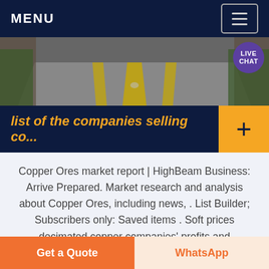MENU
[Figure (photo): Road with yellow lane markings stretching into the distance, with a LIVE CHAT bubble in the top right corner]
list of the companies selling co...
Copper Ores market report | HighBeam Business: Arrive Prepared. Market research and analysis about Copper Ores, including news, . List Builder; Subscribers only: Saved items . Soft prices decimated copper companies' profits and triggered a frantic round of . Contracts are usually for one to three years and may involve selling copper
Get a Quote   WhatsApp